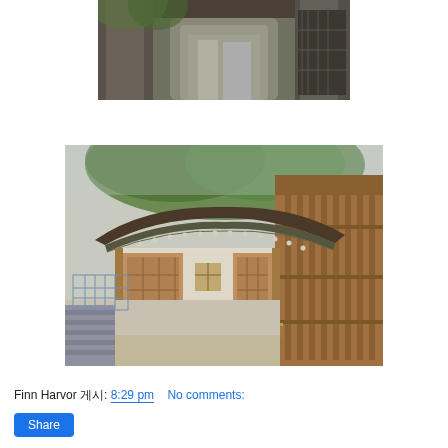[Figure (photo): Photograph of a traditional Korean gate/archway structure, viewed through stone columns, with iron gate visible on the right side.]
[Figure (photo): Photograph of a traditional Korean hanok building with curved tile roof, wooden veranda with steps, stone wall pathway, and large tree canopy overhead.]
Finn Harvor 게시: 8:29 pm    No comments:
Share